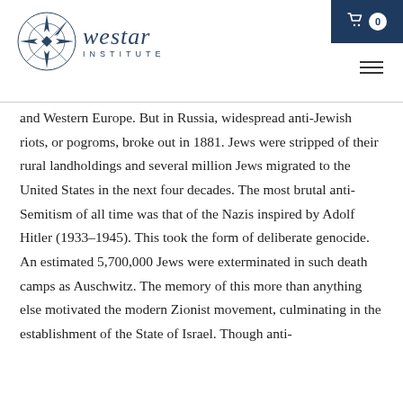[Figure (logo): Westar Institute logo with compass rose and italic text 'westar INSTITUTE']
and Western Europe. But in Russia, widespread anti-Jewish riots, or pogroms, broke out in 1881. Jews were stripped of their rural landholdings and several million Jews migrated to the United States in the next four decades. The most brutal anti-Semitism of all time was that of the Nazis inspired by Adolf Hitler (1933–1945). This took the form of deliberate genocide. An estimated 5,700,000 Jews were exterminated in such death camps as Auschwitz. The memory of this more than anything else motivated the modern Zionist movement, culminating in the establishment of the State of Israel. Though anti-